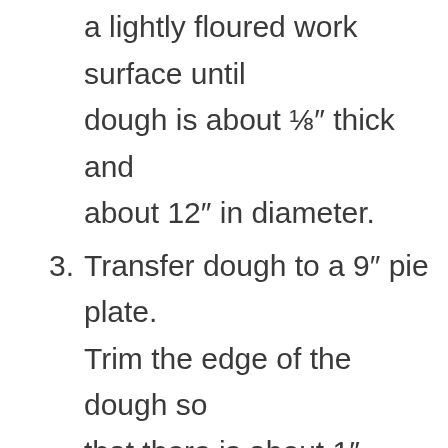2. Roll out chilled pie dough disc on a lightly floured work surface until dough is about ⅛″ thick and about 12″ in diameter.
3. Transfer dough to a 9″ pie plate. Trim the edge of the dough so that there is about 1″ overhang.
4. Fold the edges under and crimp with your fingers or a fork.
5. Put the pie plate in the freezer while you make the pie filling and crumble topping.
6. For the filling: In a medium bowl toss together sliced pears, lemon juice, granulated sugar, brown